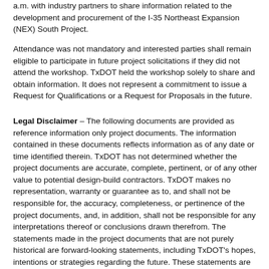a.m. with industry partners to share information related to the development and procurement of the I-35 Northeast Expansion (NEX) South Project.
Attendance was not mandatory and interested parties shall remain eligible to participate in future project solicitations if they did not attend the workshop. TxDOT held the workshop solely to share and obtain information. It does not represent a commitment to issue a Request for Qualifications or a Request for Proposals in the future.
Legal Disclaimer – The following documents are provided as reference information only project documents. The information contained in these documents reflects information as of any date or time identified therein. TxDOT has not determined whether the project documents are accurate, complete, pertinent, or of any other value to potential design-build contractors. TxDOT makes no representation, warranty or guarantee as to, and shall not be responsible for, the accuracy, completeness, or pertinence of the project documents, and, in addition, shall not be responsible for any interpretations thereof or conclusions drawn therefrom. The statements made in the project documents that are not purely historical are forward-looking statements, including TxDOT's hopes, intentions or strategies regarding the future. These statements are based on information currently available to TxDOT and TxDOT...